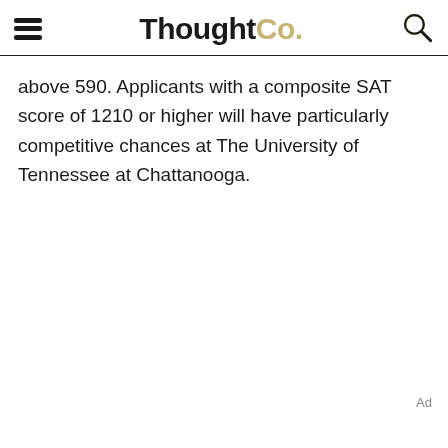ThoughtCo.
above 590. Applicants with a composite SAT score of 1210 or higher will have particularly competitive chances at The University of Tennessee at Chattanooga.
Ad